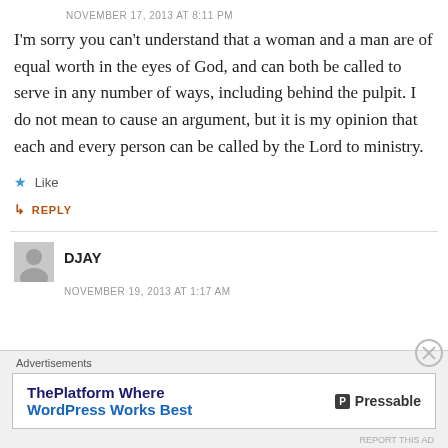NOVEMBER 17, 2013 AT 8:11 PM
I'm sorry you can't understand that a woman and a man are of equal worth in the eyes of God, and can both be called to serve in any number of ways, including behind the pulpit. I do not mean to cause an argument, but it is my opinion that each and every person can be called by the Lord to ministry.
★ Like
↳ REPLY
DJAY
NOVEMBER 19, 2013 AT 1:17 AM
Advertisements
ThePlatform Where WordPress Works Best — Pressable